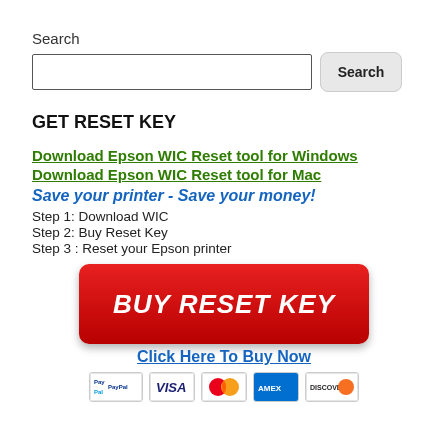Search
[Figure (screenshot): Search input box and Search button]
GET RESET KEY
Download Epson WIC Reset tool for Windows
Download Epson WIC Reset tool for Mac
Save your printer - Save your money!
Step 1: Download WIC
Step 2: Buy Reset Key
Step 3 : Reset your Epson printer
[Figure (illustration): Red BUY RESET KEY button]
Click Here To Buy Now
[Figure (illustration): Payment logos: PayPal, Visa, Mastercard, American Express, Discover]